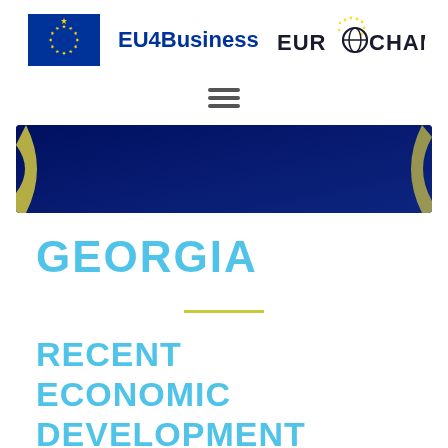[Figure (logo): EU4Business and EUROCHAMBRES logos in header]
[Figure (illustration): Hamburger/menu icon (three horizontal lines)]
[Figure (illustration): EU4Business: Connecting Companies banner with subtitle text about promoting trade between EU Member States and Eastern Partnership countries]
GEORGIA
RECENT ECONOMIC DEVELOPMENT